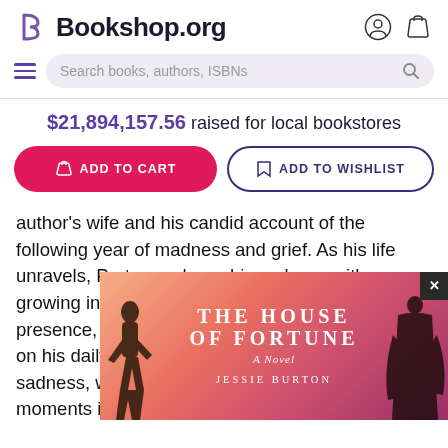Bookshop.org
$21,894,157.56 raised for local bookstores
ADD TO CART | ADD TO WISHLIST
author's wife and his candid account of the following year of madness and grief. As his life unravels, Porter analyzes his sadness with growing interest. He talks to Claire as if to evoke a presence, to mark a space for memory. He reports on his daily walks and shares observations of life's sadness, while reminiscing about various moments in their [obscured] ches for a lo [obscured] oom but fla [obscured] he darkes [obscured]
[Figure (illustration): Book cover popup for 'The House of Fortune - A Novel' by Jessie Burton, with a gradient pink/red background and silhouette figures]